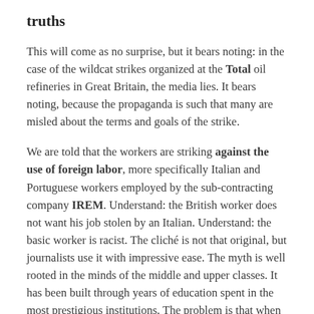truths
This will come as no surprise, but it bears noting: in the case of the wildcat strikes organized at the Total oil refineries in Great Britain, the media lies. It bears noting, because the propaganda is such that many are misled about the terms and goals of the strike.
We are told that the workers are striking against the use of foreign labor, more specifically Italian and Portuguese workers employed by the sub-contracting company IREM. Understand: the British worker does not want his job stolen by an Italian. Understand: the basic worker is racist. The cliché is not that original, but journalists use it with impressive ease. The myth is well rooted in the minds of the middle and upper classes. It has been built through years of education spent in the most prestigious institutions. The problem is that when you spend a little